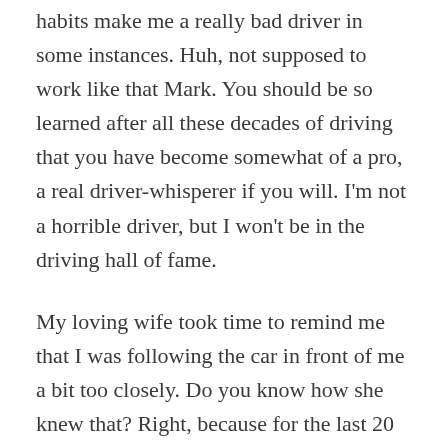habits make me a really bad driver in some instances. Huh, not supposed to work like that Mark. You should be so learned after all these decades of driving that you have become somewhat of a pro, a real driver-whisperer if you will. I'm not a horrible driver, but I won't be in the driving hall of fame.
My loving wife took time to remind me that I was following the car in front of me a bit too closely. Do you know how she knew that? Right, because for the last 20 years I've been talking about the four-second rule when behind another vehicle. Do you know what you are supposed to do when